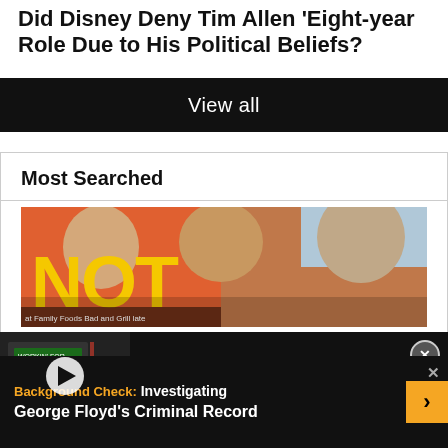Did Disney Deny Tim Allen 'Eight-year Role Due to His Political Beliefs?
View all
Most Searched
[Figure (photo): Protest photo showing people holding a sign that reads 'NOT' against an orange background]
[Figure (screenshot): Video overlay showing thumbnail of Chinese restaurant sign with play button, and headline: Did a Florida Chinese Restaurant's Sign Read 'F*** DeSantis'?]
Background Check:  Investigating George Floyd's Criminal Record